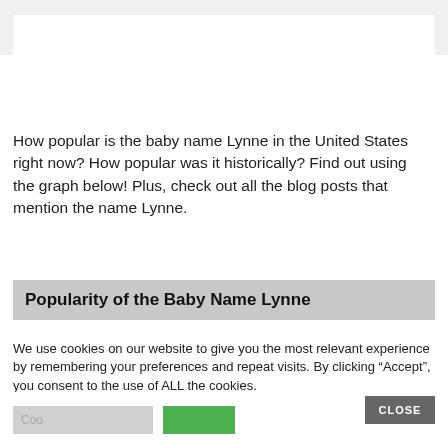Tag: lynne
How popular is the baby name Lynne in the United States right now? How popular was it historically? Find out using the graph below! Plus, check out all the blog posts that mention the name Lynne.
Popularity of the Baby Name Lynne
We use cookies on our website to give you the most relevant experience by remembering your preferences and repeat visits. By clicking “Accept”, you consent to the use of ALL the cookies.
Do not sell my personal information.
CLOSE